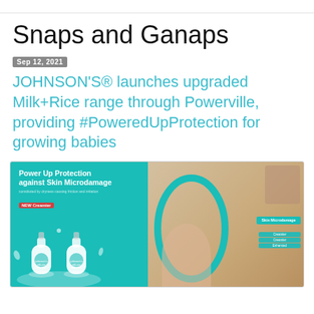Snaps and Ganaps
Sep 12, 2021
JOHNSON'S® launches upgraded Milk+Rice range through Powerville, providing #PoweredUpProtection for growing babies
[Figure (photo): Johnson's Milk+Rice baby lotion products on teal background on left; baby crawling through a teal ring with mother smiling behind on right, with Skin Microdamage badges]